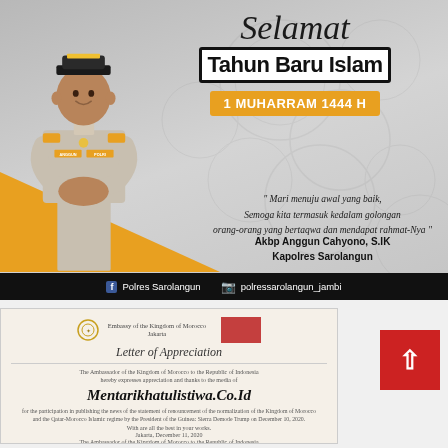[Figure (illustration): Indonesian Police officer in uniform doing prayer greeting gesture with 'Selamat Tahun Baru Islam' (Happy Islamic New Year) greeting banner, 1 Muharram 1444 H, with quote and officer name Akbp Anggun Cahyono S.IK, Kapolres Sarolangun, social media handles for Polres Sarolangun at the bottom.]
[Figure (photo): Scanned Letter of Appreciation from Embassy of the Kingdom of Morocco in Jakarta, addressed to Mentarikhatulistiwa.Co.Id, with red stamp, signature, dated Jakarta December 11, 2020, signed by The Ambassador of the Kingdom of Morocco to the Republic of Indonesia.]